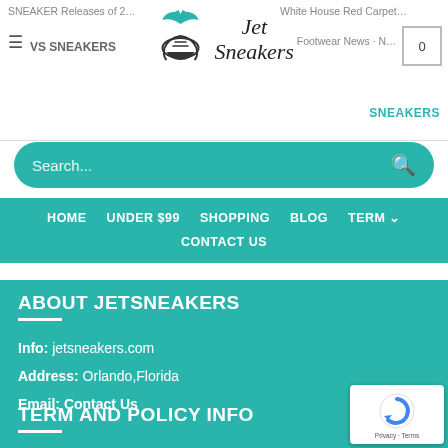SNEAKER Releases of 2... | White House Red Carpet... | Jet Sneakers logo | Footwear News - N... | VS SNEAKERS | SNEAKERS | 0
Search...
HOME  UNDER $99  SHOPPING  BLOG  TERM ▾  CONTACT US
ABOUT JETSNEAKERS
Info: jetsneakers.com
Address: Orlando,Florida
Email: Contact Us
TERM AND POLICY INFO